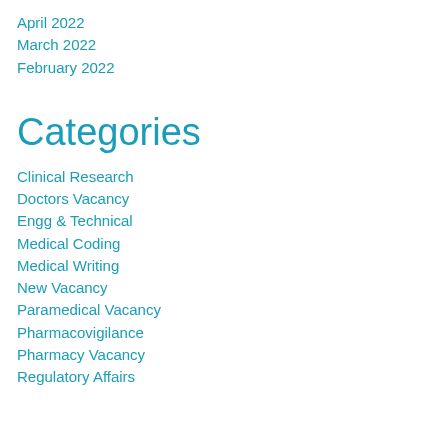April 2022
March 2022
February 2022
Categories
Clinical Research
Doctors Vacancy
Engg & Technical
Medical Coding
Medical Writing
New Vacancy
Paramedical Vacancy
Pharmacovigilance
Pharmacy Vacancy
Regulatory Affairs